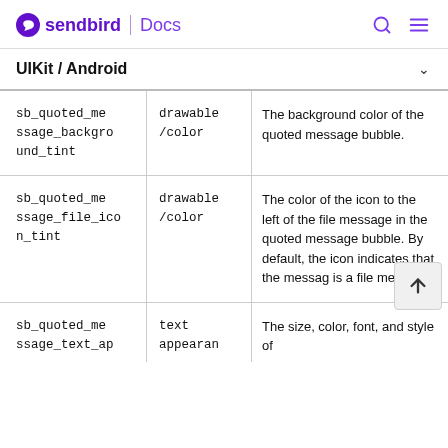sendbird | Docs
UIKit / Android
| Name | Type | Description |
| --- | --- | --- |
| sb_quoted_message_background_tint | drawable/color | The background color of the quoted message bubble. |
| sb_quoted_message_file_icon_tint | drawable/color | The color of the icon to the left of the file message in the quoted message bubble. By default, the icon indicates that the message is a file message. |
| sb_quoted_message_text_ap | text appearan | The size, color, font, and style of |